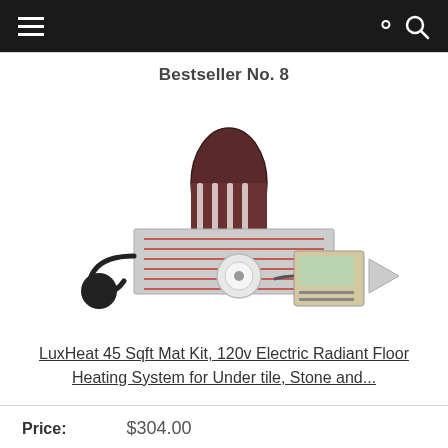Navigation bar with menu and search icons
Bestseller No. 8
[Figure (photo): LuxHeat 45 Sqft floor heating mat kit product photo showing rolled heating mat, thermostat, and accessories]
LuxHeat 45 Sqft Mat Kit, 120v Electric Radiant Floor Heating System for Under tile, Stone and...
Price: $304.00
Buy on Amazon